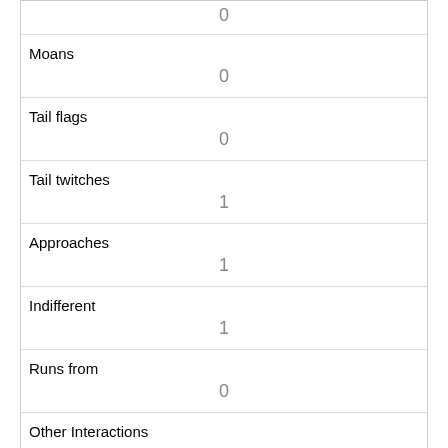| 0 |
| Moans | 0 |
| Tail flags | 0 |
| Tail twitches | 1 |
| Approaches | 1 |
| Indifferent | 1 |
| Runs from | 0 |
| Other Interactions |  |
| Lat/Long | POINT (-73.972212563004 40.7761311465857) |
| Link | 2849 |